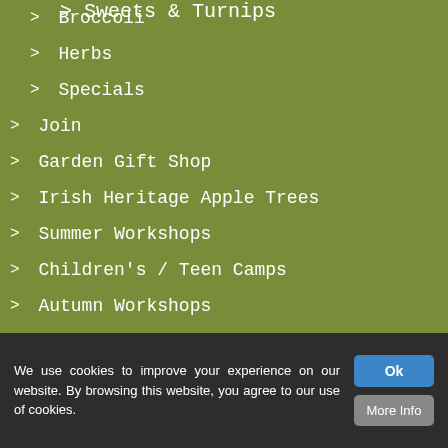> Sweets & Turnips
> Broccoli
> Herbs
> Specials
> Join
> Garden Gift Shop
> Irish Heritage Apple Trees
> Summer Workshops
> Children's / Teen Camps
> Autumn Workshops
> Spring Workshops
We use cookies to improve your experience on our website. By browsing this website, you agree to our use of cookies.